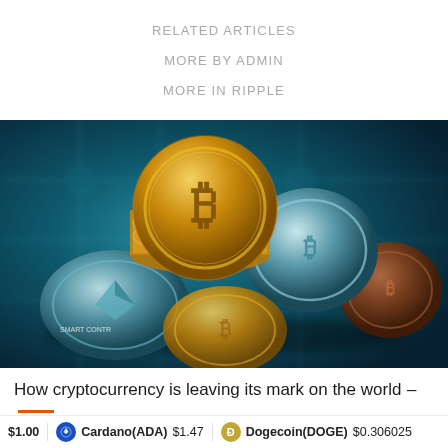RELATED ARTICLES
MORE BY ADMIN
MORE IN RIPPLE
[Figure (photo): A pile of various cryptocurrency coins including gold Bitcoin coins and silver/teal Ethereum coins on a blurred blue circuit board background]
How cryptocurrency is leaving its mark on the world –
$1.00   Cardano(ADA) $1.47   Dogecoin(DOGE) $0.306025